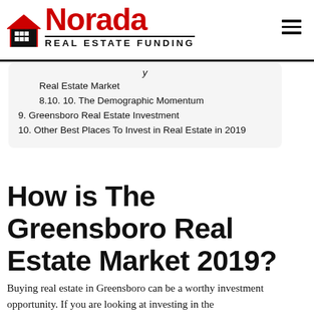Norada Real Estate Funding
Real Estate Market
8.10. 10. The Demographic Momentum
9. Greensboro Real Estate Investment
10. Other Best Places To Invest in Real Estate in 2019
How is The Greensboro Real Estate Market 2019?
Buying real estate in Greensboro can be a worthy investment opportunity. If you are looking at investing in the